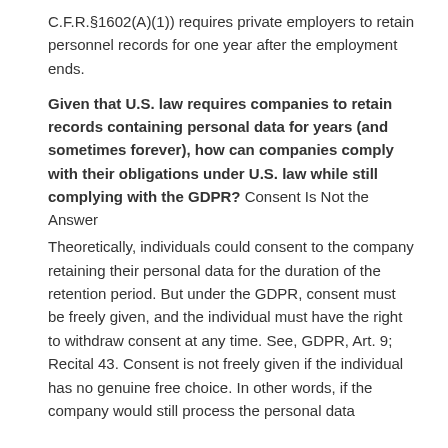C.F.R.§1602(A)(1)) requires private employers to retain personnel records for one year after the employment ends.
Given that U.S. law requires companies to retain records containing personal data for years (and sometimes forever), how can companies comply with their obligations under U.S. law while still complying with the GDPR? Consent Is Not the Answer
Theoretically, individuals could consent to the company retaining their personal data for the duration of the retention period. But under the GDPR, consent must be freely given, and the individual must have the right to withdraw consent at any time. See, GDPR, Art. 9; Recital 43. Consent is not freely given if the individual has no genuine free choice. In other words, if the company would still process the personal data